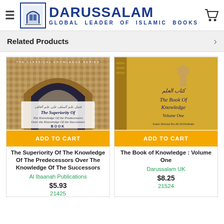DARUSSALAM — GLOBAL LEADER OF ISLAMIC BOOKS
Related Products
[Figure (photo): Book cover: The Superiority Of The Knowledge Of The Predecessors Over The Knowledge Of The Successors — showing an Islamic archway]
ADD TO CART
The Superiority Of The Knowledge Of The Predecessors Over The Knowledge Of The Successors
Al Ibaanah Publications
$5.93
21425
[Figure (photo): Book cover: The Book of Knowledge Volume One — yellow/gold book with Arabic text and English title]
ADD TO CART
The Book of Knowledge : Volume One
Darussalam UK
$8.25
21524